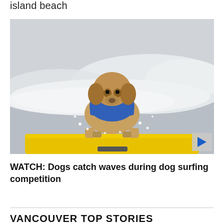island beach
[Figure (photo): A dog wearing a blue vest riding a yellow surfboard on a wave during a dog surfing competition. The dog is low on the board with white foamy wave water around it. A play button overlay is visible in the bottom right corner.]
WATCH: Dogs catch waves during dog surfing competition
VANCOUVER TOP STORIES